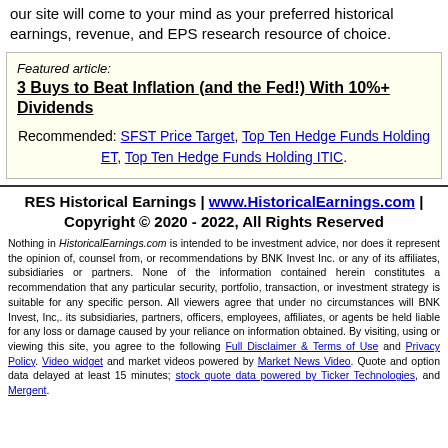our site will come to your mind as your preferred historical earnings, revenue, and EPS research resource of choice.
Featured article:
3 Buys to Beat Inflation (and the Fed!) With 10%+ Dividends
Recommended: SFST Price Target, Top Ten Hedge Funds Holding ET, Top Ten Hedge Funds Holding ITIC.
RES Historical Earnings | www.HistoricalEarnings.com | Copyright © 2020 - 2022, All Rights Reserved
Nothing in HistoricalEarnings.com is intended to be investment advice, nor does it represent the opinion of, counsel from, or recommendations by BNK Invest Inc. or any of its affiliates, subsidiaries or partners. None of the information contained herein constitutes a recommendation that any particular security, portfolio, transaction, or investment strategy is suitable for any specific person. All viewers agree that under no circumstances will BNK Invest, Inc,. its subsidiaries, partners, officers, employees, affiliates, or agents be held liable for any loss or damage caused by your reliance on information obtained. By visiting, using or viewing this site, you agree to the following Full Disclaimer & Terms of Use and Privacy Policy. Video widget and market videos powered by Market News Video. Quote and option data delayed at least 15 minutes; stock quote data powered by Ticker Technologies, and Mergent.